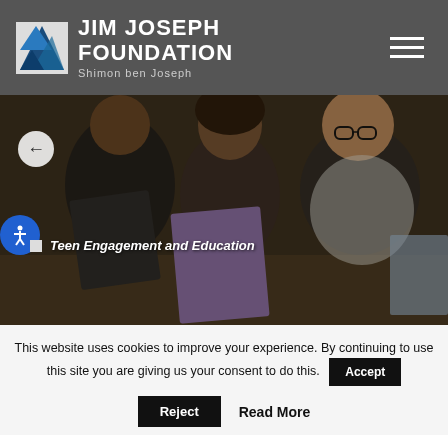[Figure (logo): Jim Joseph Foundation logo with blue angular arrow graphic and text 'JIM JOSEPH FOUNDATION Shimon ben Joseph' on dark gray header background]
[Figure (photo): Three smiling teenagers holding papers/folders at a table in a conference room setting. Overlay text reads 'Teen Engagement and Education'.]
This website uses cookies to improve your experience. By continuing to use this site you are giving us your consent to do this.
Accept
Reject
Read More